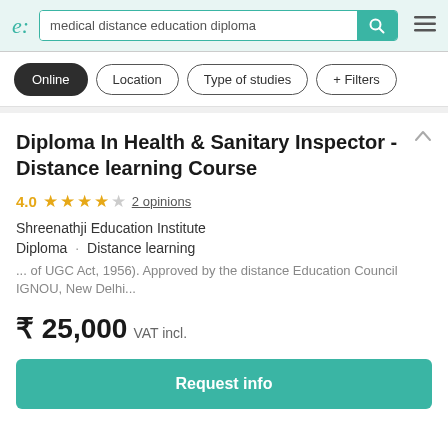e: | medical distance education diploma [search bar with search button] [menu icon]
Online | Location | Type of studies | + Filters
Diploma In Health & Sanitary Inspector - Distance learning Course
4.0 ★★★★☆ 2 opinions
Shreenathji Education Institute
Diploma · Distance learning
... of UGC Act, 1956). Approved by the distance Education Council IGNOU, New Delhi...
₹ 25,000 VAT incl.
Request info